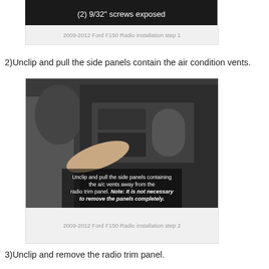[Figure (photo): Photo showing 9/32 inch screws exposed on Ford F150 radio trim panel]
2009-2012 Ford F150 Radio installation step 1
2)Unclip and pull the side panels contain the air condition vents.
[Figure (photo): Photo showing a person unclipping and pulling the side panels containing the a/c vents away from the radio trim panel. Overlay text: Unclip and pull the side panels containing the a/c vents away from the radio trim panel. Note: It is not necessary to remove the panels completely.]
2009-2012 Ford F150 Radio installation step 2
3)Unclip and remove the radio trim panel.